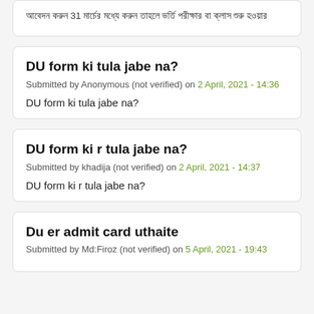আবেদন করুন 31 মার্চের মধ্যে করুন তাহলে ভর্তি পরীক্ষার বা ক্লাস শুরু হওয়ার
DU form ki tula jabe na?
Submitted by Anonymous (not verified) on 2 April, 2021 - 14:36
DU form ki tula jabe na?
DU form ki r tula jabe na?
Submitted by khadija (not verified) on 2 April, 2021 - 14:37
DU form ki r tula jabe na?
Du er admit card uthaite
Submitted by Md:Firoz (not verified) on 5 April, 2021 - 19:43